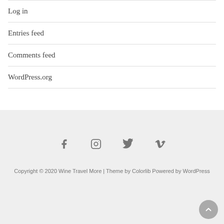Log in
Entries feed
Comments feed
WordPress.org
[Figure (other): Social media icons: Facebook, Instagram, Twitter, Vimeo]
Copyright © 2020 Wine Travel More | Theme by Colorlib Powered by WordPress